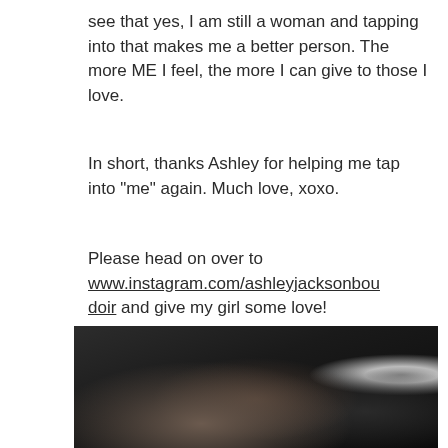see that yes, I am still a woman and tapping into that makes me a better person. The more ME I feel, the more I can give to those I love.
In short, thanks Ashley for helping me tap into "me" again. Much love, xoxo.
Please head on over to www.instagram.com/ashleyjacksonboudoir and give my girl some love!
[Figure (photo): A dark, partially visible boudoir-style photograph showing a blurred figure against a dark background with a small bright highlight on the right side.]